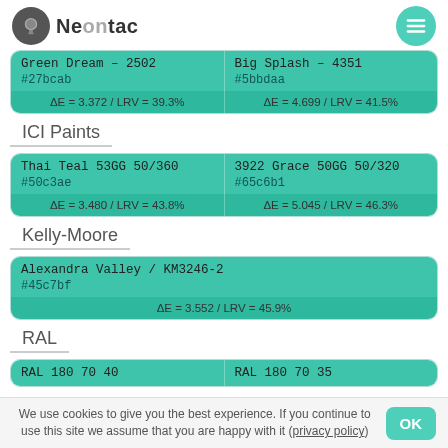Neontac
| Green Dream – 2502 / #27bcab / ΔE = 3.372 / LRV = 39.3% | Big Splash – 4351 / #5bbdaa / ΔE = 4.699 / LRV = 41.5% |
| --- | --- |
ICI Paints
| Thai Teal 53GG 50/360 / #50c3ae / ΔE = 3.480 / LRV = 43.8% | 3922 Grace 50GG 50/320 / #65c6b1 / ΔE = 5.045 / LRV = 46.3% |
| --- | --- |
Kelly-Moore
| Alexandra Valley / KM3246-2 / #45c7bf / ΔE = 3.552 / LRV = 45.9% |
| --- |
RAL
| RAL 180 70 40 | RAL 180 70 35 |
| --- | --- |
We use cookies to give you the best experience. If you continue to use this site we assume that you are happy with it (privacy policy)